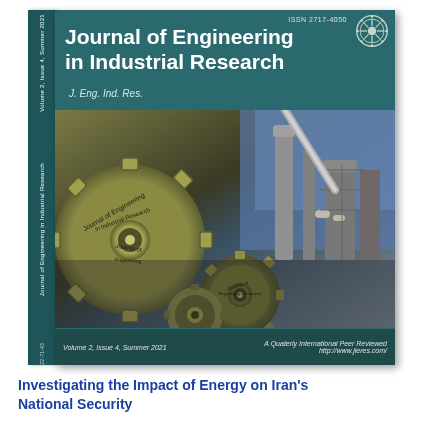[Figure (illustration): Cover of Journal of Engineering in Industrial Research, Volume 2, Issue 4, Summer 2021. Shows journal title on teal background with gear machinery and industrial plant imagery. ISSN 2717-4050. Spine shows volume/issue info and journal name. Bottom bar: 'Volume 2, Issue 4, Summer 2021' and 'A Quarterly International Peer Reviewed http://www.jieres.com/']
Investigating the Impact of Energy on Iran's National Security